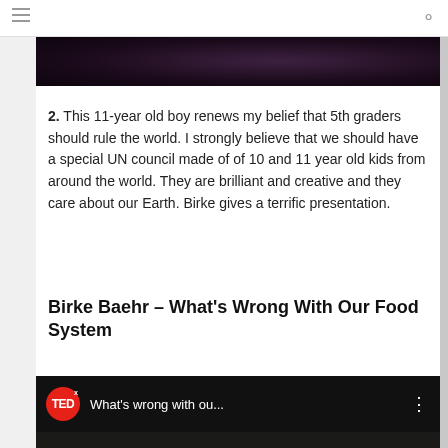[Figure (photo): Dark background image, top portion of a previous section visible at the top of the page]
2. This 11-year old boy renews my belief that 5th graders should rule the world. I strongly believe that we should have a special UN council made of of 10 and 11 year old kids from around the world. They are brilliant and creative and they care about our Earth. Birke gives a terrific presentation.
Birke Baehr – What's Wrong With Our Food System
[Figure (screenshot): TEDx video thumbnail showing 'What's wrong with ou...' title with TEDx logo and menu dots, dark background with partial view of a person]